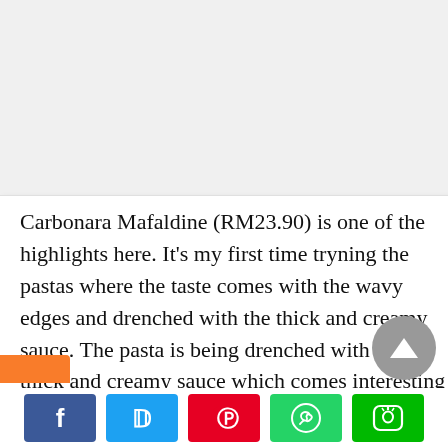Carbonara Mafaldine (RM23.90) is one of the highlights here. It's my first time tryning the pastas where the taste comes with the wavy edges and drenched with the thick and creamy sauce. The pasta is being drenched with the thick and creamy sauce which comes interesting thick. With the poached egg on top with the beef bacon, oyster mushroom as well as the parmesan cheese with it; the taste is pretty awesome.
[Figure (screenshot): Social media share buttons: Facebook (blue), Twitter (light blue), Pinterest (red), WhatsApp (green), LINE (green)]